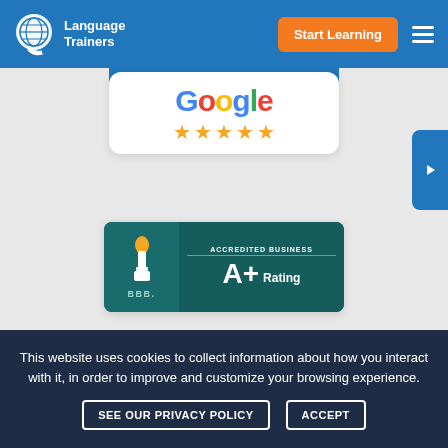[Figure (logo): Language Trainers logo with globe/speech bubble icon and wordmark in white on blue header]
[Figure (screenshot): Orange 'Start Learning' button in header navigation]
[Figure (screenshot): Partial blue card showing 5 gold star rating at top of carousel]
[Figure (screenshot): Google 5-star rating card: white rounded card with Google logo and 5 gold stars]
[Figure (screenshot): BBB Accredited Business A+ Rating badge: teal background with BBB torch logo and A+ Rating text]
[Figure (screenshot): ISO 9001:2015 Certified badge partially visible at bottom]
This website uses cookies to collect information about how you interact with it, in order to improve and customize your browsing experience.
SEE OUR PRIVACY POLICY
ACCEPT